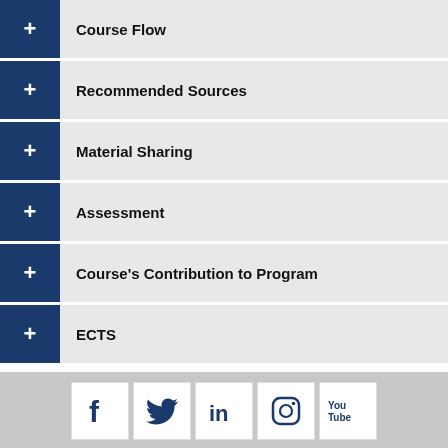Course Flow
Recommended Sources
Material Sharing
Assessment
Course's Contribution to Program
ECTS
[Figure (infographic): Social media icons: Facebook, Twitter, LinkedIn, Instagram, YouTube]
Copyright © 2021. Yeditepe University.